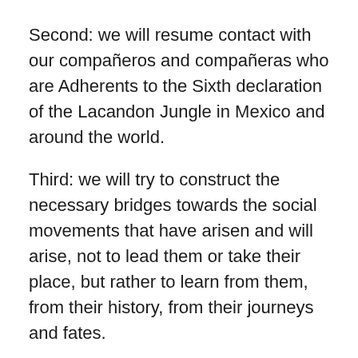Second: we will resume contact with our compañeros and compañeras who are Adherents to the Sixth declaration of the Lacandon Jungle in Mexico and around the world.
Third: we will try to construct the necessary bridges towards the social movements that have arisen and will arise, not to lead them or take their place, but rather to learn from them, from their history, from their journeys and fates.
For this we have achieved the support of individuals and groups in different parts of the world who comprise the support teams for the EZLN's Sixth and International commissions, so that they will become communication links between the Zapatista Support Bases and the individuals, groups, and collectives that are Adherents to